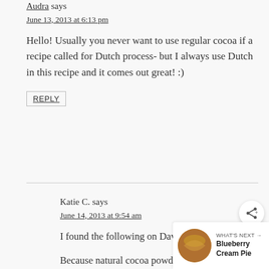Audra says
June 13, 2013 at 6:13 pm
Hello! Usually you never want to use regular cocoa if a recipe called for Dutch process- but I always use Dutch in this recipe and it comes out great! :)
REPLY
Katie C. says
June 14, 2013 at 9:54 am
I found the following on David Lebovitz's blog:
Because natural cocoa powder h... had its acidity tempered, it's generally paired with baking soda (which is
WHAT'S NEXT → Blueberry Cream Pie